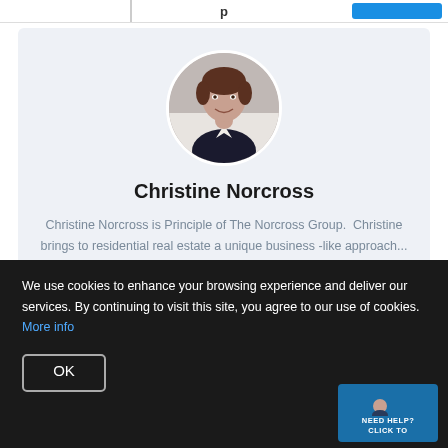[Figure (photo): Circular headshot photo of Christine Norcross, a woman in a dark blazer with short brown hair, smiling, on a white background.]
Christine Norcross
Christine Norcross is Principle of The Norcross Group.  Christine brings to residential real estate a unique business -like approach...
[Figure (infographic): Social media icons: Facebook (f), Twitter (bird), Instagram (camera outline)]
We use cookies to enhance your browsing experience and deliver our services. By continuing to visit this site, you agree to our use of cookies. More info
OK